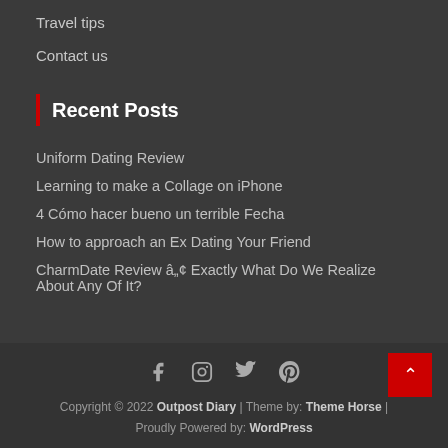Travel tips
Contact us
Recent Posts
Uniform Dating Review
Learning to make a Collage on iPhone
4 Cómo hacer bueno un terrible Fecha
How to approach an Ex Dating Your Friend
CharmDate Review â Exactly What Do We Realize About Any Of It?
Copyright © 2022 Outpost Diary | Theme by: Theme Horse | Proudly Powered by: WordPress